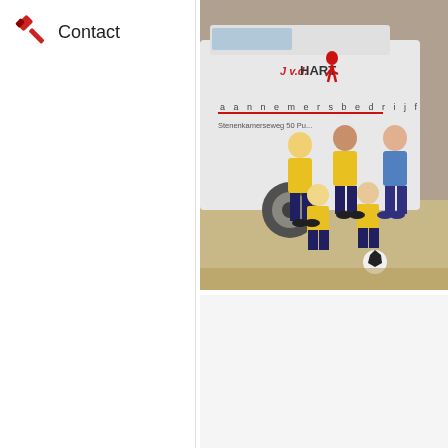Contact
[Figure (photo): Youth football team in yellow jerseys posing in front of a white van with 'J v.d. Hart aannemersbedrijf, Stenenkamerseweg 50' written on it. Five children visible, some standing and some kneeling.]